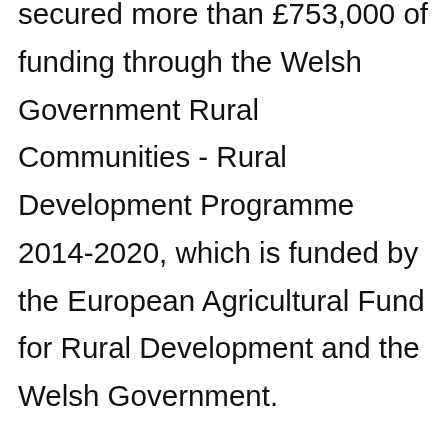secured more than £753,000 of funding through the Welsh Government Rural Communities - Rural Development Programme 2014-2020, which is funded by the European Agricultural Fund for Rural Development and the Welsh Government.

The new funding will be used in tandem with £228,000 of funding from the 'Emergency Tree Fund'—a joint venture by Coed Cadw and the Woodland Trust—to plant thousands of trees across the city.